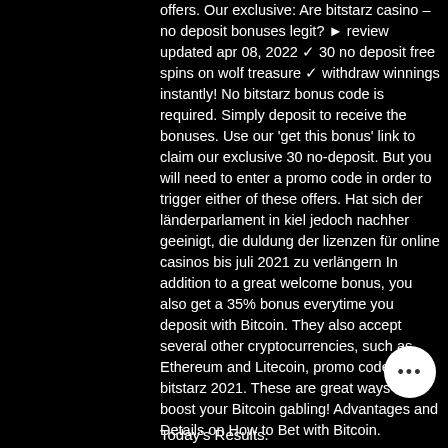offers. Our exclusive: Are bitstarz casino – no deposit bonuses legit? ► review updated apr 08, 2022 ✓ 30 no deposit free spins on wolf treasure ✓ withdraw winnings instantly! No bitstarz bonus code is required. Simply deposit to receive the bonuses. Use our 'get this bonus' link to claim our exclusive 30 no-deposit. But you will need to enter a promo code in order to trigger either of these offers. Hat sich der länderparlament in kiel jedoch nachher geeinigt, die duldung der lizenzen für online casinos bis juli 2021 zu verlängern In addition to a great welcome bonus, you also get a 35% bonus everytime you deposit with Bitcoin. They also accept several other cryptocurrencies, such as Ethereum and Litecoin, promo code bitstarz 2021. These are great ways to boost your Bitcoin gabling! Advantages and Details on How to Bet with Bitcoin.
Today's Results: